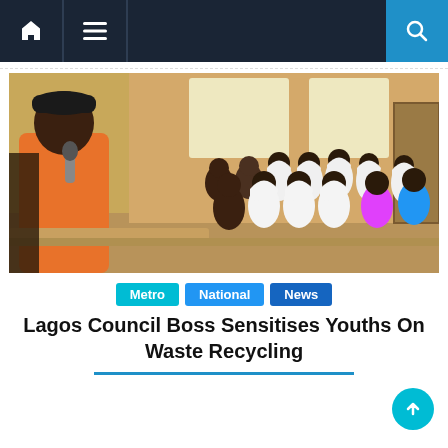Navigation bar with home, menu, and search icons
[Figure (photo): A man in an orange outfit and black cap speaking into a microphone to a large audience of seated young people, mostly female, many wearing white hijabs, in a classroom or hall setting.]
Metro  National  News
Lagos Council Boss Sensitises Youths On Waste Recycling